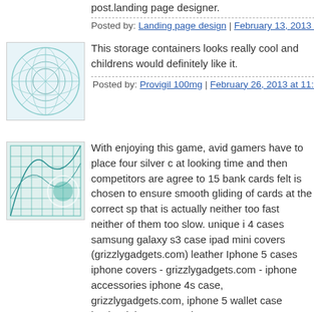post.landing page designer.
Posted by: Landing page design | February 13, 2013 at 02:01 A
[Figure (illustration): Avatar image - abstract circular pattern in teal/blue tones]
This storage containers looks really cool and childrens would definitely like it.
Posted by: Provigil 100mg | February 26, 2013 at 11:52 PM
[Figure (illustration): Avatar image - abstract grid/net pattern in teal tones]
With enjoying this game, avid gamers have to place four silver c at looking time and then competitors are agree to 15 bank cards felt is chosen to ensure smooth gliding of cards at the correct sp that is actually neither too fast neither of them too slow. unique i 4 cases samsung galaxy s3 case ipad mini covers (grizzlygadgets.com) leather Iphone 5 cases iphone covers - grizzlygadgets.com - iphone accessories iphone 4s case, grizzlygadgets.com, iphone 5 wallet case leather iphone cases i cover (grizzlygadgets.com) ipad 2 leather case - http://grizzlygadgets.com, aluminum iphone case aluminum ipho case aluminum iphone 4 case (http://grizzlygadgets.com/alumin iphone-cases) best iphone 4 cases ipad covers ipad 3 accessor best case For Iphone 4s iphone 4 case (grizzlygadgets.com) be 3 cases waterproof iphone case ipad case best ipad 3 accesso